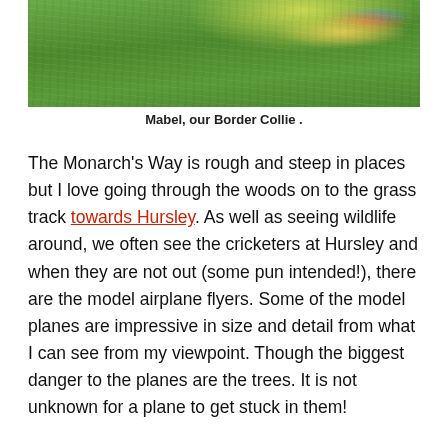[Figure (photo): Photograph of Mabel the Border Collie on grass, partially cropped at top of page]
Mabel, our Border Collie .
The Monarch’s Way is rough and steep in places but I love going through the woods on to the grass track towards Hursley. As well as seeing wildlife around, we often see the cricketers at Hursley and when they are not out (some pun intended!), there are the model airplane flyers. Some of the model planes are impressive in size and detail from what I can see from my viewpoint. Though the biggest danger to the planes are the trees. It is not unknown for a plane to get stuck in them!